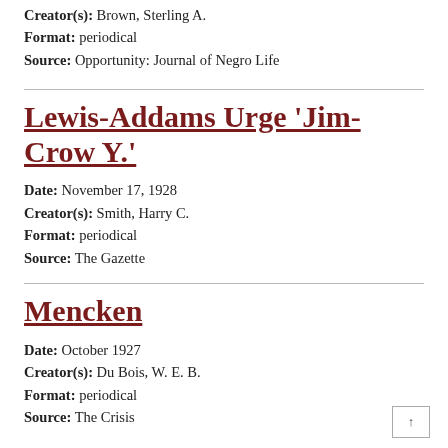Creator(s): Brown, Sterling A.
Format: periodical
Source: Opportunity: Journal of Negro Life
Lewis-Addams Urge 'Jim-Crow Y.'
Date: November 17, 1928
Creator(s): Smith, Harry C.
Format: periodical
Source: The Gazette
Mencken
Date: October 1927
Creator(s): Du Bois, W. E. B.
Format: periodical
Source: The Crisis